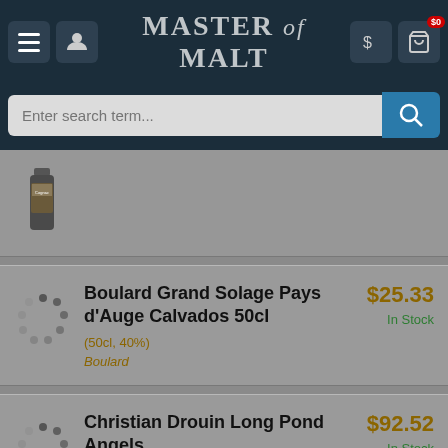Master of Malt
Enter search term...
[Figure (screenshot): Partially visible product card with bottle image at top of list]
Boulard Grand Solage Pays d'Auge Calvados 50cl (50cl, 40%) Boulard $25.33 In Stock
Christian Drouin Long Pond Angels (70cl, 45%) Christian Drouin $92.52 In Stock